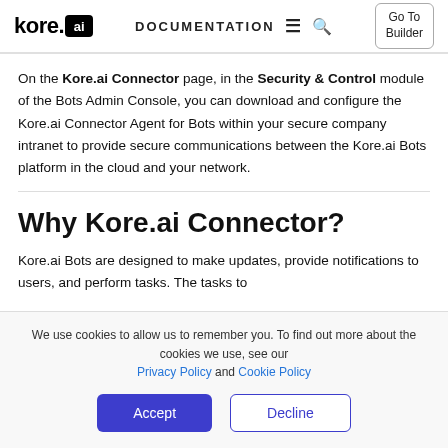kore.ai DOCUMENTATION Go To Builder
On the Kore.ai Connector page, in the Security & Control module of the Bots Admin Console, you can download and configure the Kore.ai Connector Agent for Bots within your secure company intranet to provide secure communications between the Kore.ai Bots platform in the cloud and your network.
Why Kore.ai Connector?
Kore.ai Bots are designed to make updates, provide notifications to users, and perform tasks. The tasks to
We use cookies to allow us to remember you. To find out more about the cookies we use, see our Privacy Policy and Cookie Policy